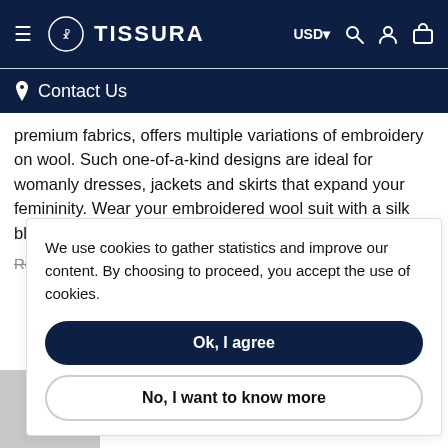TISSURA — USD | Search | Account | Cart
Contact Us
premium fabrics, offers multiple variations of embroidery on wool. Such one-of-a-kind designs are ideal for womanly dresses, jackets and skirts that expand your femininity. Wear your embroidered wool suit with a silk blouse or a cotton shirt to complete the look!
Related Categories: Exclusive Fabric Jakob Schlaenfer
We use cookies to gather statistics and improve our content. By choosing to proceed, you accept the use of cookies.
Ok, I agree
No, I want to know more